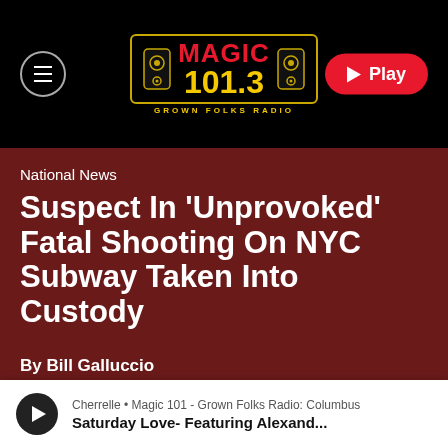[Figure (logo): Magic 101.3 Grown Folks Radio logo on black navigation bar with hamburger menu button on left and red Play button on right]
National News
Suspect In 'Unprovoked' Fatal Shooting On NYC Subway Taken Into Custody
By Bill Galluccio
Cherrelle • Magic 101 - Grown Folks Radio: Columbus
Saturday Love- Featuring Alexand...